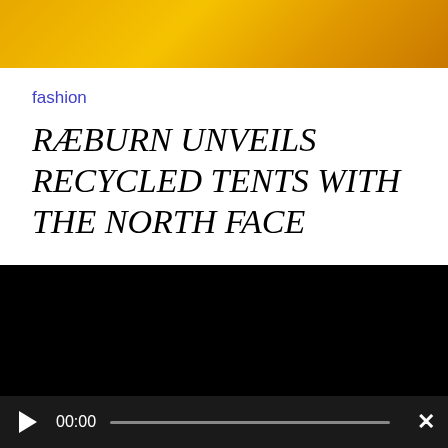[Figure (other): Gold/yellow gradient decorative banner bar at top of page]
fashion
RÆBURN UNVEILS RECYCLED TENTS WITH THE NORTH FACE
[Figure (logo): MAEKAN logo in large white bold text on black background]
If you'd like periodic updates from us, subscribe to our newsletter!
00:00 [audio player bar with play button and close button]